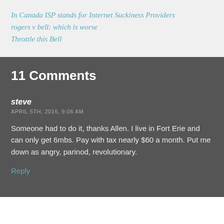In Canada ISP stands for Internet Suckiness Providers
rogers v bell: which is worse
Throttle this Bell
11 Comments
steve
APRIL 5TH, 2016, 9:06 AM
Someone had to do it, thanks Allen. I live in Fort Erie and can only get 6mbs. Pay with tax nearly $60 a month. Put me down as angry, parinod, revolutionary.
Reply